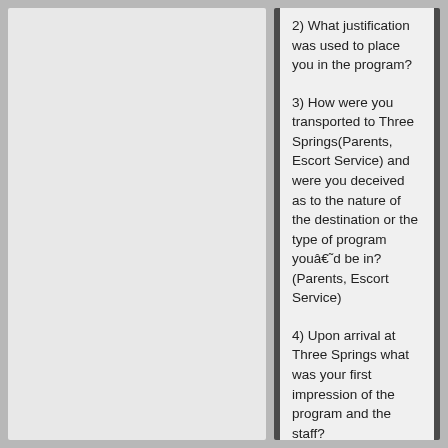2) What justification was used to place you in the program?
3) How were you transported to Three Springs(Parents, Escort Service) and were you deceived as to the nature of the destination or the type of program youâ€˜d be in? (Parents, Escort Service)
4) Upon arrival at Three Springs what was your first impression of the program and the staff?
5) What is your best recollection of Three